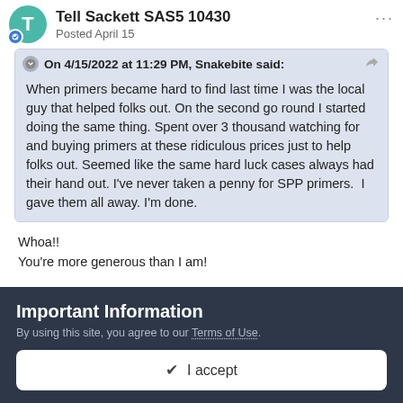Tell Sackett SAS5 10430
Posted April 15
On 4/15/2022 at 11:29 PM, Snakebite said:
When primers became hard to find last time I was the local guy that helped folks out. On the second go round I started doing the same thing. Spent over 3 thousand watching for and buying primers at these ridiculous prices just to help folks out. Seemed like the same hard luck cases always had their hand out. I've never taken a penny for SPP primers.  I gave them all away. I'm done.
Whoa!!
You're more generous than I am!
Important Information
By using this site, you agree to our Terms of Use.
✔  I accept